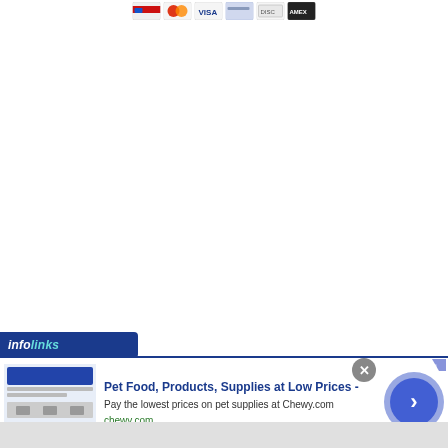[Figure (other): Row of payment card icons (credit/debit card logos) at the top of the page]
[Figure (logo): Infolinks advertising network logo bar in blue/teal italic text]
[Figure (screenshot): Advertisement banner for Chewy.com pet supplies with thumbnail image, close button, and arrow navigation button]
Pet Food, Products, Supplies at Low Prices -
Pay the lowest prices on pet supplies at Chewy.com
chewy.com